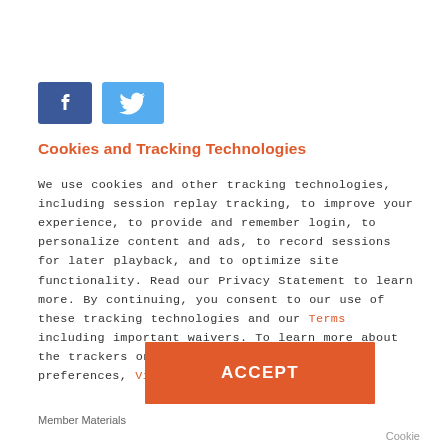[Figure (logo): Facebook and Twitter social media icons side by side]
Cookies and Tracking Technologies
We use cookies and other tracking technologies, including session replay tracking, to improve your experience, to provide and remember login, to personalize content and ads, to record sessions for later playback, and to optimize site functionality. Read our Privacy Statement to learn more. By continuing, you consent to our use of these tracking technologies and our Terms including important waivers. To learn more about the trackers on our site and change your preferences, View Settings.
ACCEPT
Member Materials
Cookie